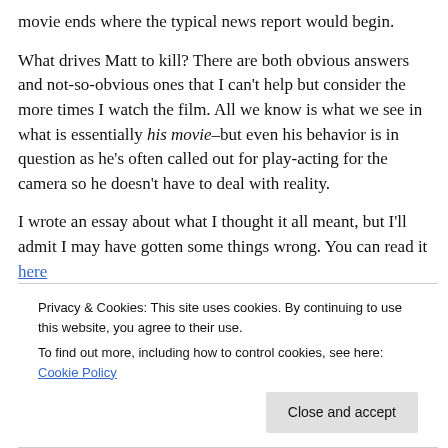movie ends where the typical news report would begin.
What drives Matt to kill? There are both obvious answers and not-so-obvious ones that I can't help but consider the more times I watch the film. All we know is what we see in what is essentially his movie–but even his behavior is in question as he's often called out for play-acting for the camera so he doesn't have to deal with reality.
I wrote an essay about what I thought it all meant, but I'll admit I may have gotten some things wrong. You can read it here
Privacy & Cookies: This site uses cookies. By continuing to use this website, you agree to their use.
To find out more, including how to control cookies, see here: Cookie Policy
Close and accept